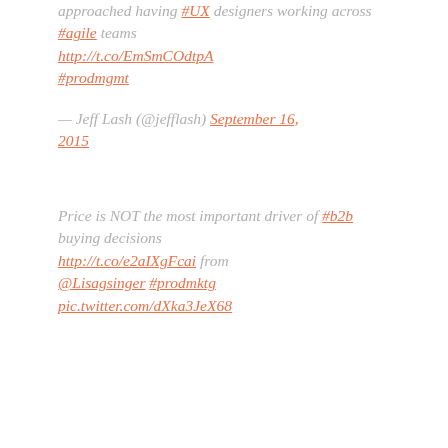approached having #UX designers working across #agile teams http://t.co/EmSmCOdtpA #prodmgmt
— Jeff Lash (@jefflash) September 16, 2015
Price is NOT the most important driver of #b2b buying decisions http://t.co/e2aIXgFcai from @Lisagsinger #prodmktg pic.twitter.com/dXka3JeX68